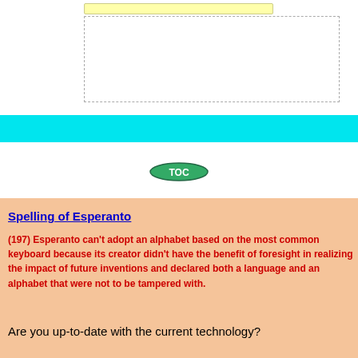[Figure (other): Top section with a yellow highlighted bar and a dashed empty box below it, on white background with cyan stripe]
[Figure (other): TOC green oval button with text 'TOC']
Spelling of Esperanto
(197) Esperanto can't adopt an alphabet based on the most common keyboard because its creator didn't have the benefit of foresight in realizing the impact of future inventions and declared both a language and an alphabet that were not to be tampered with.
Are you up-to-date with the current technology?